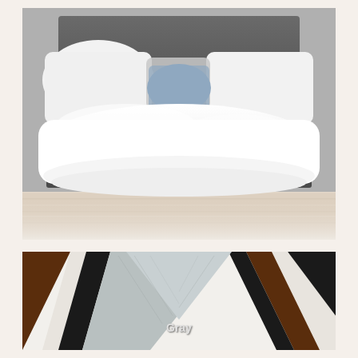[Figure (photo): A neatly made bed with white duvet/comforter and multiple pillows in white, gray, and light blue tones, set against a dark gray headboard. Light wood flooring visible in foreground. Room has a clean, modern, minimalist aesthetic.]
[Figure (photo): Color swatch/material sample panel showing different frame or furniture finish options arranged in a chevron/V-shape pattern: black, white/cream, light gray (wood grain), dark black (center), dark brown walnut (right). A label 'Gray' is printed in white text on the gray swatch section.]
Gray